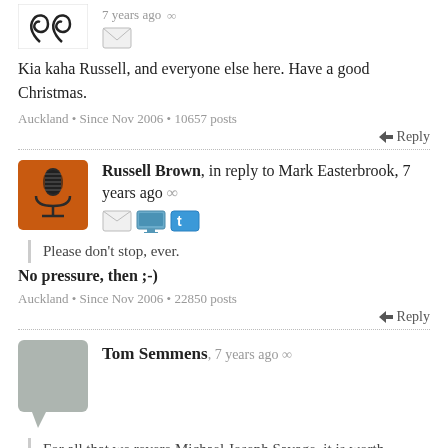[Figure (illustration): Spiral avatar icon (top, partially cropped) with envelope icon to the right, '7 years ago' text and infinity link]
Kia kaha Russell, and everyone else here. Have a good Christmas.
Auckland • Since Nov 2006 • 10657 posts
Reply
[Figure (illustration): Russell Brown avatar - microphone on orange background]
Russell Brown, in reply to Mark Easterbrook, 7 years ago ∞
[Figure (illustration): Three small icons: envelope, monitor, twitter bird]
Please don't stop, ever.
No pressure, then ;-)
Auckland • Since Nov 2006 • 22850 posts
Reply
[Figure (illustration): Tom Semmens avatar - grey speech bubble placeholder]
Tom Semmens, 7 years ago ∞
For all that we revere Michael Joseph Savage, it is worth recalling that he not only nationalised all